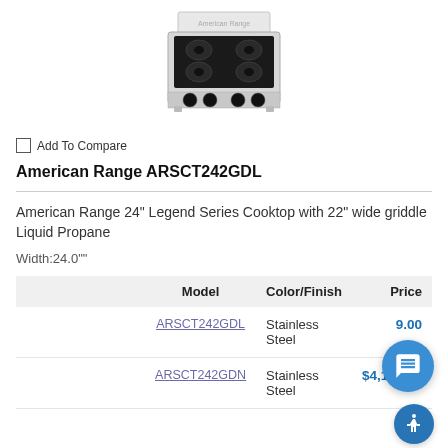[Figure (photo): Product photo of American Range ARSCT242GDL cooktop — stainless steel countertop gas range with 4 black knobs and 4 burners]
Add To Compare
American Range ARSCT242GDL
American Range 24" Legend Series Cooktop with 22" wide griddle Liquid Propane
Width:24.0""
|  | Model | Color/Finish | Price |
| --- | --- | --- | --- |
|  | ARSCT242GDL | Stainless Steel | 9.00 |
|  | ARSCT242GDN | Stainless Steel | $4,199.00 |